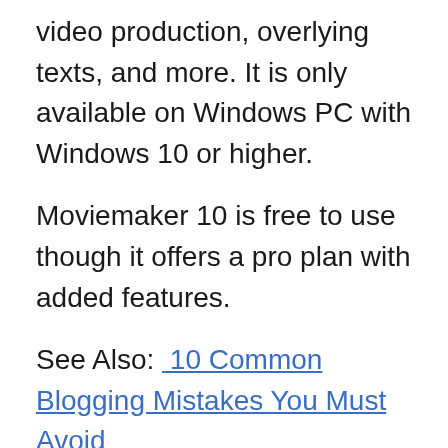video production, overlying texts, and more. It is only available on Windows PC with Windows 10 or higher.
Moviemaker 10 is free to use though it offers a pro plan with added features.
See Also:  10 Common Blogging Mistakes You Must Avoid
15. Headliner
Headliner is specifically designed for